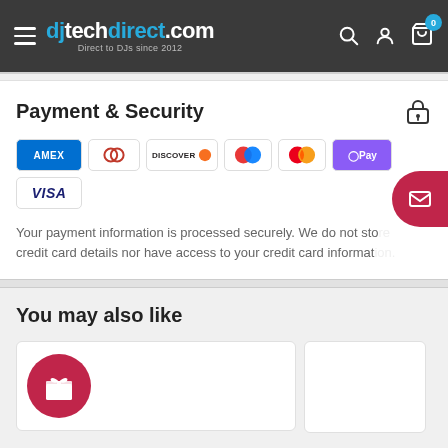djtechdirect.com — Direct to DJs since 2012
Payment & Security
[Figure (infographic): Payment method icons: Amex, Diners Club, Discover, Maestro, Mastercard, Apple Pay / G Pay, Visa]
Your payment information is processed securely. We do not store credit card details nor have access to your credit card information.
You may also like
[Figure (infographic): Product card placeholder with gift box icon on red circle background]